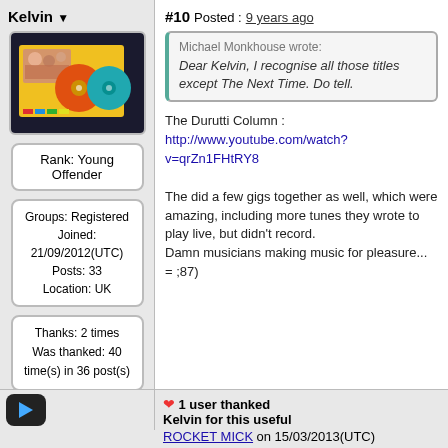Kelvin
#10 Posted : 9 years ago
[Figure (photo): Album or CD package photo showing yellow sleeve with CDs and photos]
Rank: Young Offender
Groups: Registered
Joined: 21/09/2012(UTC)
Posts: 33
Location: UK
Thanks: 2 times
Was thanked: 40 time(s) in 36 post(s)
Michael Monkhouse wrote:
Dear Kelvin, I recognise all those titles except The Next Time. Do tell.
The Durutti Column :
http://www.youtube.com/watch?v=qrZn1FHtRY8
The did a few gigs together as well, which were amazing, including more tunes they wrote to play live, but didn't record.
Damn musicians making music for pleasure... = ;87)
1 user thanked Kelvin for this useful
ROCKET MICK on 15/03/2013(UTC)